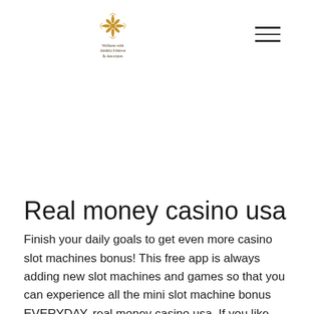[Figure (logo): Decorative floral/mandala gold logo with text below reading 'Wellness with Anshita Johnson & Associates']
Real money casino usa
Finish your daily goals to get even more casino slot machines bonus! This free app is always adding new slot machines and games so that you can experience all the mini slot machine bonus EVERYDAY, real money casino usa. If you like apps